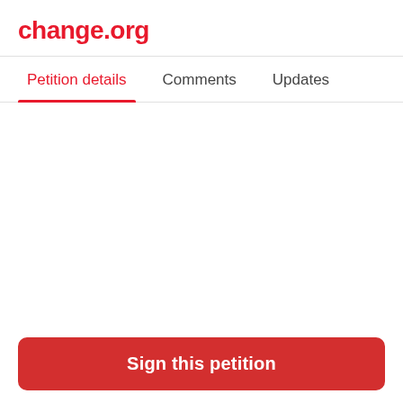change.org
Petition details   Comments   Updates
Remove Principal Leslie Roach
Sign this petition